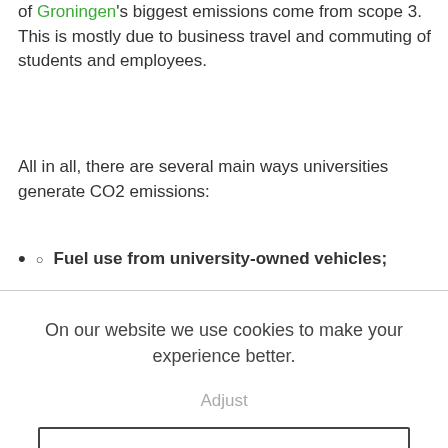of Groningen's biggest emissions come from scope 3. This is mostly due to business travel and commuting of students and employees.
All in all, there are several main ways universities generate CO2 emissions:
Fuel use from university-owned vehicles;
On our website we use cookies to make your experience better.
Adjust
Accept